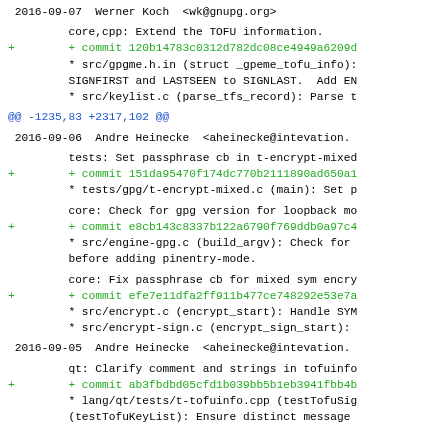2016-09-07  Werner Koch  <wk@gnupg.org>
core,cpp: Extend the TOFU information.
+       + commit 120b14783c0312d782dc08ce4949a6209d
        * src/gpgme.h.in (struct _gpeme_tofu_info):
        SIGNFIRST and LASTSEEN to SIGNLAST.  Add EN
        * src/keylist.c (parse_tfs_record): Parse t
@@ -1235,83 +2317,102 @@
2016-09-06  Andre Heinecke  <aheinecke@intevation.
tests: Set passphrase cb in t-encrypt-mixed
+       + commit 151da95470f174dc770b2111890ad650a1
        * tests/gpg/t-encrypt-mixed.c (main): Set p
core: Check for gpg version for loopback mo
+       + commit e8cb143c8337b122a6790f769ddb0a97c4
        * src/engine-gpg.c (build_argv): Check for
        before adding pinentry-mode.
core: Fix passphrase cb for mixed sym encry
+       + commit efe7e11dfa2ff911b477ce748292e53e7a
        * src/encrypt.c (encrypt_start): Handle SYM
        * src/encrypt-sign.c (encrypt_sign_start):
2016-09-05  Andre Heinecke  <aheinecke@intevation.
qt: Clarify comment and strings in tofuinfo
+       + commit ab3fbdbd05cfd1b039bb5b1eb3941fbb4b
        * lang/qt/tests/t-tofuinfo.cpp (testTofuSig
        (testTofuKeyList): Ensure distinct message